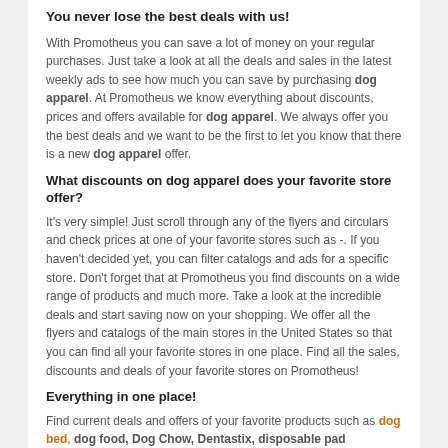You never lose the best deals with us!
With Promotheus you can save a lot of money on your regular purchases. Just take a look at all the deals and sales in the latest weekly ads to see how much you can save by purchasing dog apparel. At Promotheus we know everything about discounts, prices and offers available for dog apparel. We always offer you the best deals and we want to be the first to let you know that there is a new dog apparel offer.
What discounts on dog apparel does your favorite store offer?
It's very simple! Just scroll through any of the flyers and circulars and check prices at one of your favorite stores such as -. If you haven't decided yet, you can filter catalogs and ads for a specific store. Don't forget that at Promotheus you find discounts on a wide range of products and much more. Take a look at the incredible deals and start saving now on your shopping. We offer all the flyers and catalogs of the main stores in the United States so that you can find all your favorite stores in one place. Find all the sales, discounts and deals of your favorite stores on Promotheus!
Everything in one place!
Find current deals and offers of your favorite products such as dog bed, dog food, Dog Chow, Dentastix, disposable pad